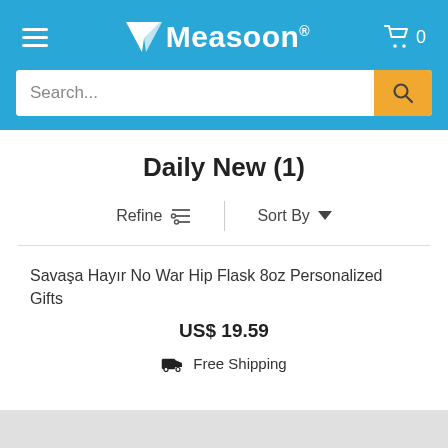Measoon® [hamburger menu] [cart 0]
Daily New (1)
Refine  Sort By
Savaşa Hayır No War Hip Flask 8oz Personalized Gifts
US$ 19.59
🚚 Free Shipping